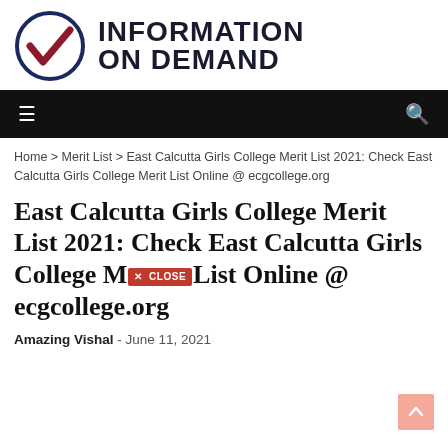[Figure (logo): Information On Demand logo with a circular checkmark icon in dark blue and dark red, next to bold text reading INFORMATION ON DEMAND]
[Figure (screenshot): Black navigation bar with hamburger menu icon on left and search icon on right]
Home > Merit List > East Calcutta Girls College Merit List 2021: Check East Calcutta Girls College Merit List Online @ ecgcollege.org
East Calcutta Girls College Merit List 2021: Check East Calcutta Girls College Merit List Online @ ecgcollege.org
Amazing Vishal - June 11, 2021